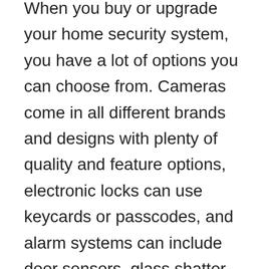When you buy or upgrade your home security system, you have a lot of options you can choose from. Cameras come in all different brands and designs with plenty of quality and feature options, electronic locks can use keycards or passcodes, and alarm systems can include door sensors, glass shatter sensors, and an integrated smoke alarm. Another option that many security companies in Mount Vernon, IL offer is home security monitoring.
With home security monitoring, the security company that installs your security equipment will monitor things like camera feeds and security alerts 24/7. The security team can respond to suspicious activity and alerts